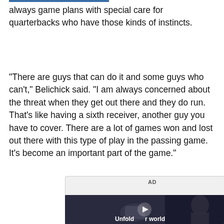always game plans with special care for quarterbacks who have those kinds of instincts.
"There are guys that can do it and some guys who can't," Belichick said. "I am always concerned about the threat when they get out there and they do run. That's like having a sixth receiver, another guy you have to cover. There are a lot of games won and lost out there with this type of play in the passing game. It's become an important part of the game."
[Figure (photo): Advertisement placeholder with a dark video thumbnail showing a person holding a phone, with text 'Unfold your world' and a play button overlay]